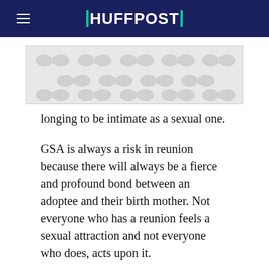HUFFPOST
[Figure (other): Advertisement placeholder banner with grey decorative dot/peanut pattern]
longing to be intimate as a sexual one.
GSA is always a risk in reunion because there will always be a fierce and profound bond between an adoptee and their birth mother. Not everyone who has a reunion feels a sexual attraction and not everyone who does, acts upon it.
ADVERTISEMENT